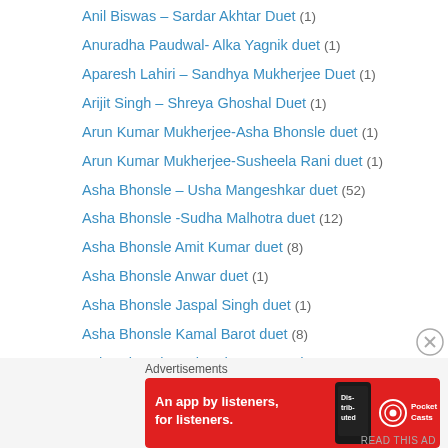Anil Biswas – Sardar Akhtar Duet (1)
Anuradha Paudwal- Alka Yagnik duet (1)
Aparesh Lahiri – Sandhya Mukherjee Duet (1)
Arijit Singh – Shreya Ghoshal Duet (1)
Arun Kumar Mukherjee-Asha Bhonsle duet (1)
Arun Kumar Mukherjee-Susheela Rani duet (1)
Asha Bhonsle – Usha Mangeshkar duet (52)
Asha Bhonsle -Sudha Malhotra duet (12)
Asha Bhonsle Amit Kumar duet (8)
Asha Bhonsle Anwar duet (1)
Asha Bhonsle Jaspal Singh duet (1)
Asha Bhonsle Kamal Barot duet (8)
Asha Bhonsle Mahendra Kapoor duet (74)
Asha Bhonsle Manhar duet (2)
Asha Bhonsle Md Aziz duet (2)
Asha Bhonsle Meena Kapoor duet (1)
Asha Bhonsle Mubarak Begam duet (9)
[Figure (infographic): Pocket Casts advertisement banner: red background with text 'An app by listeners, for listeners.' and Pocket Casts logo. Shows a smartphone with app.]